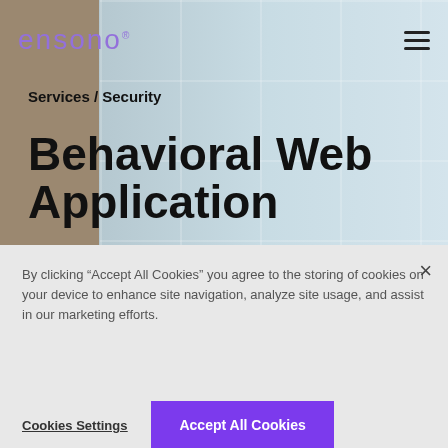[Figure (screenshot): Ensono website header with logo, hamburger menu, breadcrumb navigation, and hero background showing blurred window/building image]
ensono
Services / Security
Behavioral Web Application
By clicking “Accept All Cookies” you agree to the storing of cookies on your device to enhance site navigation, analyze site usage, and assist in our marketing efforts.
Cookies Settings
Accept All Cookies